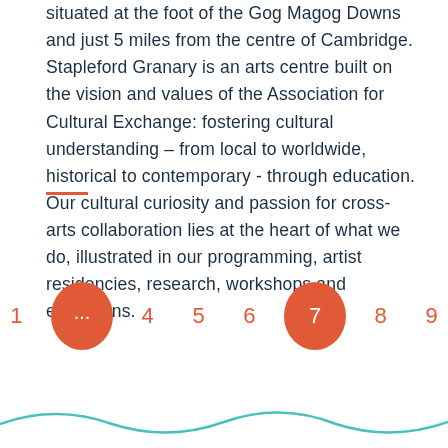situated at the foot of the Gog Magog Downs and just 5 miles from the centre of Cambridge. Stapleford Granary is an arts centre built on the vision and values of the Association for Cultural Exchange: fostering cultural understanding – from local to worldwide, historical to contemporary - through education. Our cultural curiosity and passion for cross-arts collaboration lies at the heart of what we do, illustrated in our programming, artist residencies, research, workshops and exhibitions.
[Figure (other): Horizontal orange/red divider line]
[Figure (other): Pagination control showing page numbers 1, ... (ellipsis circle), 4, 5, 6, 7 (active circle), 8, 9 with orange circles]
[Figure (other): Teal/cyan decorative wave line at bottom of page]